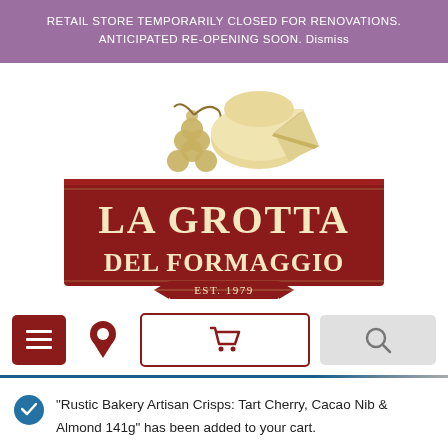RETAIL STORE TEMPORARILY CLOSED FOR RENOVATIONS. ANTICIPATED RE-OPENING SOON. Dismiss
[Figure (logo): La Grotta Del Formaggio logo — dark red rectangular badge with gold serif text 'LA GROTTA DEL FORMAGGIO' and 'EST. 1979', topped with a gold illustration of cheese wheels and grapes]
[Figure (infographic): Navigation bar with hamburger menu (dark red), pin/location icon (dark red), shopping cart button (outlined dark red), and search icon (gray)]
"Rustic Bakery Artisan Crisps: Tart Cherry, Cacao Nib & Almond 141g" has been added to your cart.